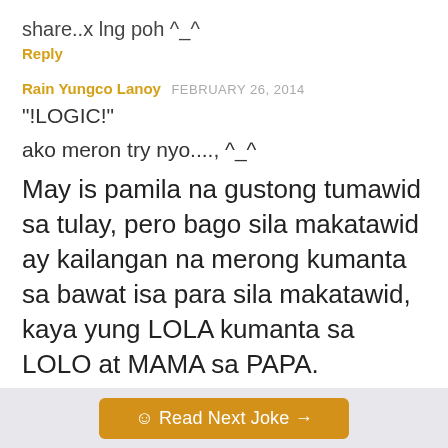share..x lng poh ^_^
Reply
Rain Yungco Lanoy  FEBRUARY 26, 2014
"!LOGIC!"
ako meron try nyo...., ^_^
May is pamila na gustong tumawid sa tulay, pero bago sila makatawid ay kailangan na merong kumanta sa bawat isa para sila makatawid, kaya yung LOLA kumanta sa LOLO at MAMA sa PAPA.
☺ Read Next Joke →